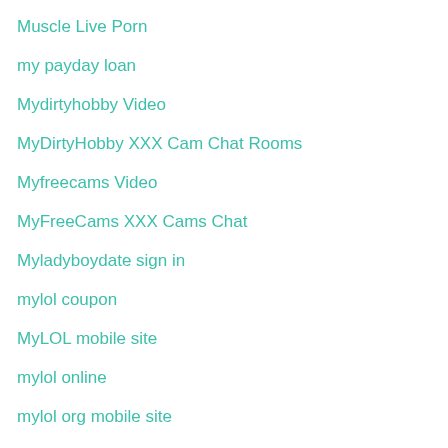Muscle Live Porn
my payday loan
Mydirtyhobby Video
MyDirtyHobby XXX Cam Chat Rooms
Myfreecams Video
MyFreeCams XXX Cams Chat
Myladyboydate sign in
mylol coupon
MyLOL mobile site
mylol online
mylol org mobile site